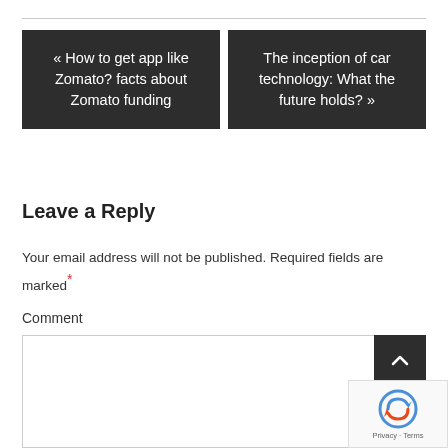« How to get app like Zomato? facts about Zomato funding
The inception of car technology: What the future holds? »
Leave a Reply
Your email address will not be published. Required fields are marked *
Comment